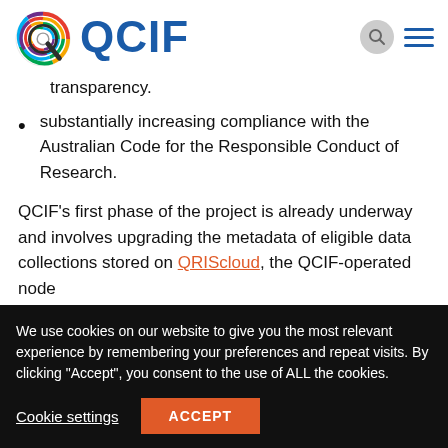QCIF
transparency.
substantially increasing compliance with the Australian Code for the Responsible Conduct of Research.
QCIF's first phase of the project is already underway and involves upgrading the metadata of eligible data collections stored on QRIScloud, the QCIF-operated node
We use cookies on our website to give you the most relevant experience by remembering your preferences and repeat visits. By clicking "Accept", you consent to the use of ALL the cookies.
Cookie settings  ACCEPT